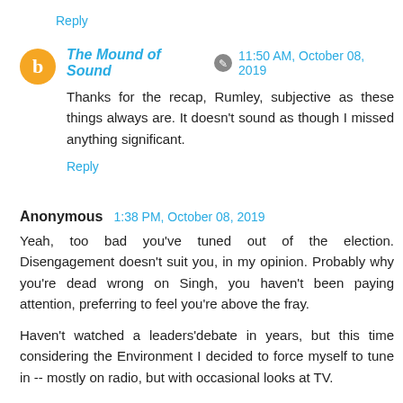Reply
The Mound of Sound [edit icon] 11:50 AM, October 08, 2019
Thanks for the recap, Rumley, subjective as these things always are. It doesn't sound as though I missed anything significant.
Reply
Anonymous 1:38 PM, October 08, 2019
Yeah, too bad you've tuned out of the election. Disengagement doesn't suit you, in my opinion. Probably why you're dead wrong on Singh, you haven't been paying attention, preferring to feel you're above the fray.
Haven't watched a leaders'debate in years, but this time considering the Environment I decided to force myself to tune in -- mostly on radio, but with occasional looks at TV.